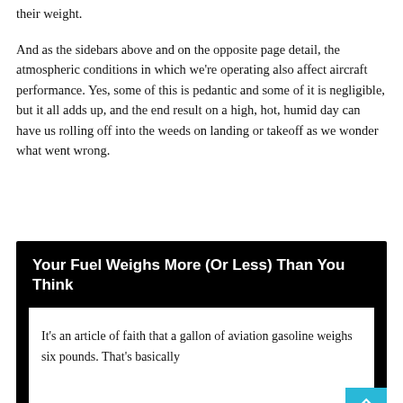their weight.
And as the sidebars above and on the opposite page detail, the atmospheric conditions in which we're operating also affect aircraft performance. Yes, some of this is pedantic and some of it is negligible, but it all adds up, and the end result on a high, hot, humid day can have us rolling off into the weeds on landing or takeoff as we wonder what went wrong.
Your Fuel Weighs More (Or Less) Than You Think
It's an article of faith that a gallon of aviation gasoline weighs six pounds. That's basically